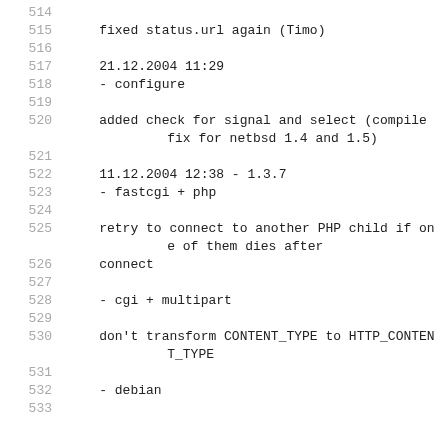514
515    fixed status.url again (Timo)
516
517    21.12.2004 11:29
518    - configure
519
520    added check for signal and select (compile fix for netbsd 1.4 and 1.5)
521
522    11.12.2004 12:38 - 1.3.7
523    - fastcgi + php
524
525    retry to connect to another PHP child if one of them dies after
526    connect
527
528    - cgi + multipart
529
530    don't transform CONTENT_TYPE to HTTP_CONTENT_TYPE
531
532    - debian
533